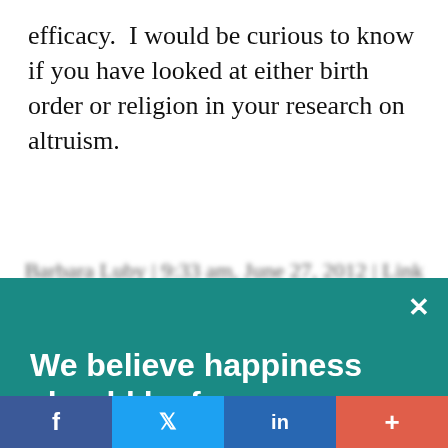efficacy. I would be curious to know if you have looked at either birth order or religion in your research on altruism.
Barbara Luby | 9:33 am, June 27, 2012 | Link
We believe happiness should be free.
That’s why we don’t charge for our articles. But we can’t keep it up without your help. Please donate today.
Give Now
f  🐦  in  +